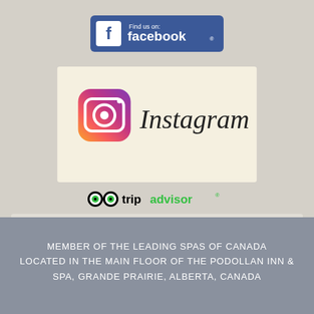[Figure (logo): Facebook 'Find us on: facebook.' logo button with blue background and white f icon]
[Figure (logo): Instagram logo with camera icon gradient and Instagram wordmark on cream background]
[Figure (logo): TripAdvisor logo with owl eyes icon and tripadvisor text in black and green]
MEMBER OF THE LEADING SPAS OF CANADA LOCATED IN THE MAIN FLOOR OF THE PODOLLAN INN & SPA, GRANDE PRAIRIE, ALBERTA, CANADA